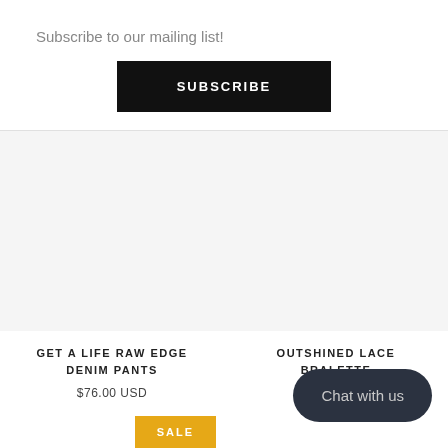Subscribe to our mailing list!
SUBSCRIBE
GET A LIFE RAW EDGE DENIM PANTS
$76.00 USD
OUTSHINED LACE BRALETTE
SALE
Chat with us